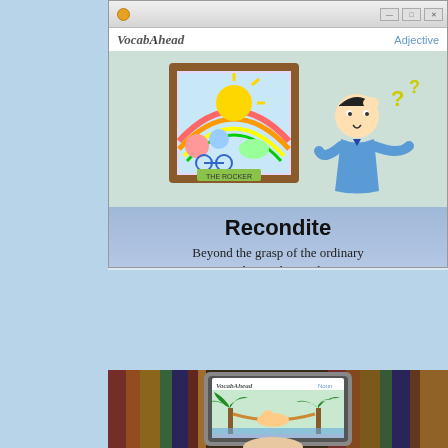[Figure (screenshot): Screenshot of VocabAhead application window showing a vocabulary card for the word 'Recondite' (Adjective) with an illustration of a person looking confused at a painting, and the definition 'Beyond the grasp of the ordinary mind or understanding'. Below the card is a file listing with date/time, file type (MP4 Video), and file size columns.]
[Figure (photo): Photo showing a tablet device displaying the VocabAhead application, with a cartoon illustration visible on screen. The tablet is held against a blurred bookshelf background.]